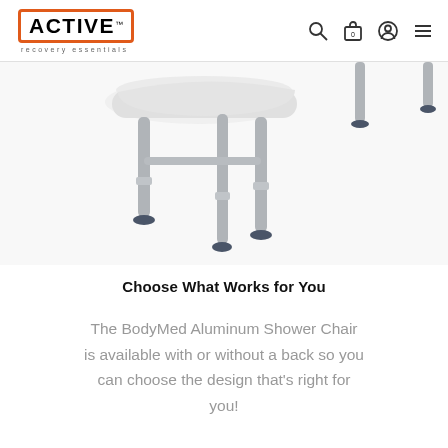ACTIVE recovery essentials
[Figure (photo): A BodyMed Aluminum Shower Chair with no back, showing silver aluminum legs with blue rubber non-slip feet and a white molded seat, photographed on a white background.]
Choose What Works for You
The BodyMed Aluminum Shower Chair is available with or without a back so you can choose the design that's right for you!